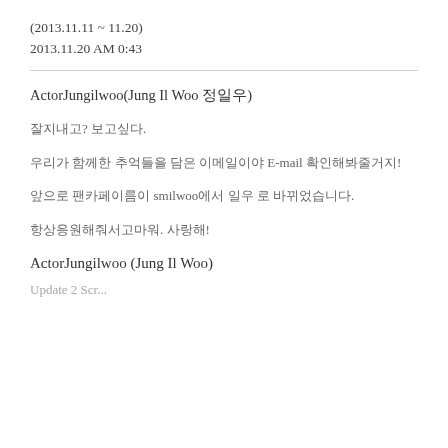(2013.11.11 ~ 11.20)
2013.11.20 AM 0:43
ActorJungilwoo(Jung Il Woo 정일우)
잘지내고? 보고싶다.
우리가 함께한 추억들을 담은 이메일이야 E-mail 확인해봐줄거지!
앞으로 팬카페이름이 smilwoo에서 일우 로 바뀌었습니다.
항상응원해줘서고마워. 사랑해!
ActorJungilwoo (Jung Il Woo)
Update 2 Scr...